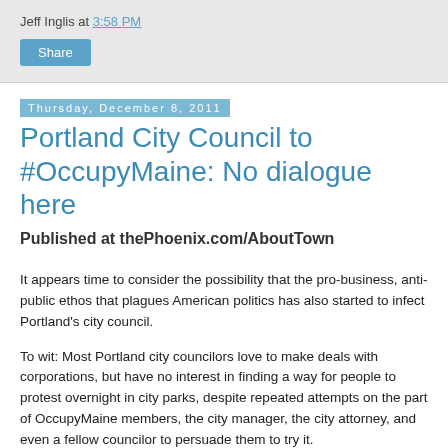Jeff Inglis at 3:58 PM
Share
Thursday, December 8, 2011
Portland City Council to #OccupyMaine: No dialogue here
Published at thePhoenix.com/AboutTown
It appears time to consider the possibility that the pro-business, anti-public ethos that plagues American politics has also started to infect Portland's city council.
To wit: Most Portland city councilors love to make deals with corporations, but have no interest in finding a way for people to protest overnight in city parks, despite repeated attempts on the part of OccupyMaine members, the city manager, the city attorney, and even a fellow councilor to persuade them to try it.
Perhaps they were swayed by statistics from the police department showing